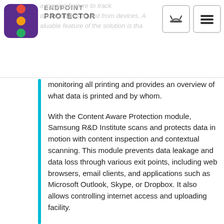ENDPOINT PROTECTOR
monitoring all printing and provides an overview of what data is printed and by whom.
With the Content Aware Protection module, Samsung R&D Institute scans and protects data in motion with content inspection and contextual scanning. This module prevents data leakage and data loss through various exit points, including web browsers, email clients, and applications such as Microsoft Outlook, Skype, or Dropbox. It also allows controlling internet access and uploading facility.
For Samsung R&D Institute, it was advantageous that Endpoint Protector offers cross-platform protection. The company chose our solution